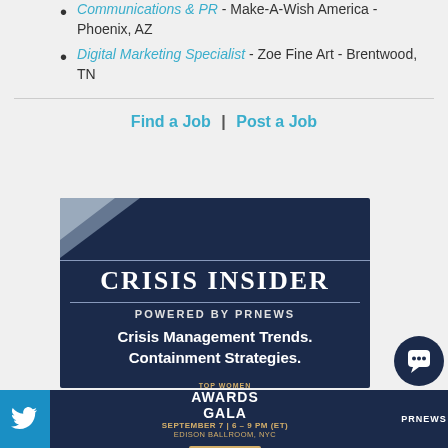Communications & PR - Make-A-Wish America - Phoenix, AZ
Digital Marketing Specialist - Zoe Fine Art - Brentwood, TN
Find a Job | Post a Job
[Figure (infographic): Crisis Insider advertisement banner. Dark navy blue background with decorative corner triangle in lighter blue. Bold serif text reads CRISIS INSIDER. Subtitle: POWERED BY PRNEWS. Body text: Crisis Management Trends. Containment Strategies.]
[Figure (infographic): Bottom footer bar. Left: Twitter bird icon on blue. Center dark navy: Top Women Awards Gala, September 7 | 6-9 PM (ET), Edison Ballroom NYC, Register Now button. Right: PRNEWS logo. Far right: chat button with messenger icon.]